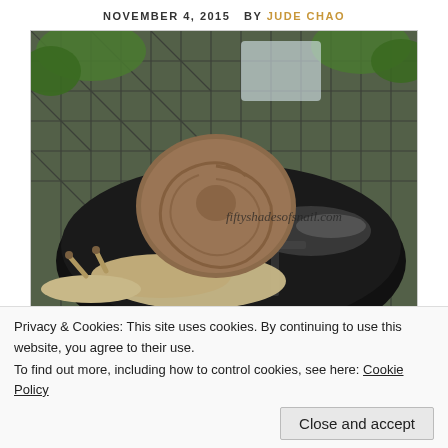NOVEMBER 4, 2015   BY JUDE CHAO
[Figure (photo): A garden snail sitting on top of a shiny black jar lid, with a metal mesh table and greenery in the background. Watermark text reads: fiftyshadesofsnail.com]
Privacy & Cookies: This site uses cookies. By continuing to use this website, you agree to their use.
To find out more, including how to control cookies, see here: Cookie Policy
Close and accept